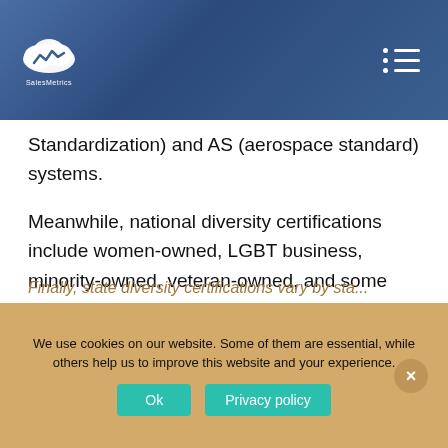SalesMetrics logo and navigation
Standardization) and AS (aerospace standard) systems.
Meanwhile, national diversity certifications include women-owned, LGBT business, minority-owned, veteran-owned, and some SBA (small business administration) certifications.
Finally, state diversity certifications vary by sta...
We use cookies on our website. Some of them are essential, while others help us to improve this website and your experience.